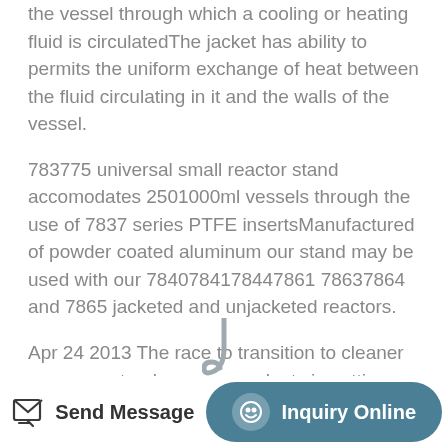the vessel through which a cooling or heating fluid is circulatedThe jacket has ability to permits the uniform exchange of heat between the fluid circulating in it and the walls of the vessel.
783775 universal small reactor stand accomodates 2501000ml vessels through the use of 7837 series PTFE insertsManufactured of powder coated aluminum our stand may be used with our 7840784178447861 78637864 and 7865 jacketed and unjacketed reactors.
Apr 24 2013 The race to transition to cleaner greener natural gas power plants is getting a boost from an unlikely source solar energy.
[Figure (illustration): Partial image of a curved hook or vessel fitting visible at bottom center of page]
Send Message | Inquiry Online